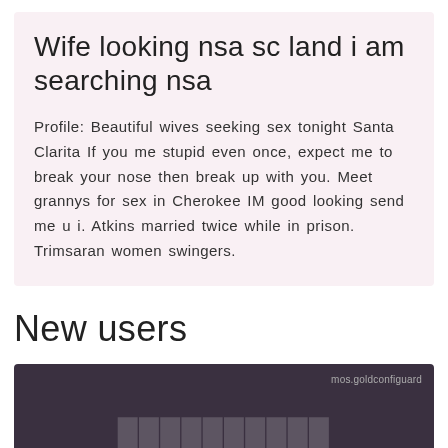Wife looking nsa sc land i am searching nsa
Profile: Beautiful wives seeking sex tonight Santa Clarita If you me stupid even once, expect me to break your nose then break up with you. Meet grannys for sex in Cherokee IM good looking send me u i. Atkins married twice while in prison. Trimsaran women swingers.
New users
[Figure (photo): Dark purple-toned photo box with watermark text 'mos.goldconfiguard' and faint large overlay text at the bottom]